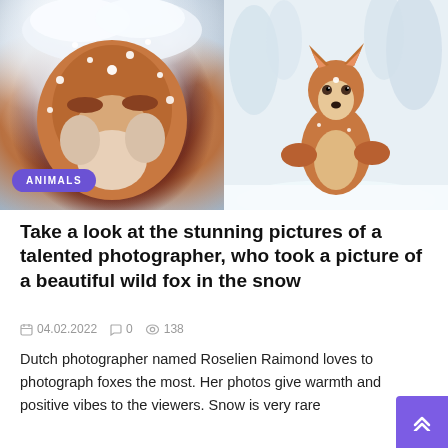[Figure (photo): Two photos of red foxes in snow. Left: close-up of a fox face covered in snow. Right: full body shot of a fox standing in snowy surroundings. An 'ANIMALS' badge overlays the lower-left of the left photo.]
Take a look at the stunning pictures of a talented photographer, who took a picture of a beautiful wild fox in the snow
04.02.2022  0  138
Dutch photographer named Roselien Raimond loves to photograph foxes the most. Her photos give warmth and positive vibes to the viewers. Snow is very rare